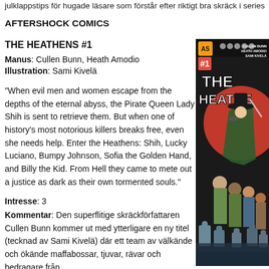julklappstips för hugade läsare som förstår efter riktigt bra skräck i series
AFTERSHOCK COMICS
THE HEATHENS #1
Manus: Cullen Bunn, Heath Amodio
Illustration: Sami Kivelä
"When evil men and women escape from the depths of the eternal abyss, the Pirate Queen Lady Shih is sent to retrieve them. But when one of history's most notorious killers breaks free, even she needs help. Enter the Heathens: Shih, Lucky Luciano, Bumpy Johnson, Sofia the Golden Hand, and Billy the Kid. From Hell they came to mete out a justice as dark as their own tormented souls."
Intresse: 3
Kommentar: Den superflitige skräckförfattaren Cullen Bunn kommer ut med ytterligare en ny titel (tecknad av Sami Kivelä) där ett team av välkände och ökände maffabossar, tjuvar, rävar och bedragare från
[Figure (illustration): Comic book cover for 'The Heathens #1' by Cullen Bunn, Heath Amodio, Sami Kivelä. Shows a group of characters including a woman in a hat with a sword, against a red/dark background with gravestones. Published by AfterShock Comics.]